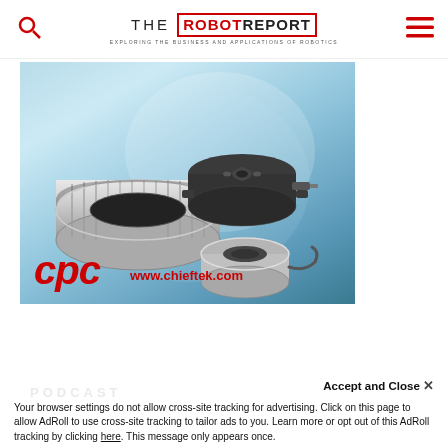THE ROBOT REPORT — EXPLORING THE BUSINESS AND APPLICATIONS OF ROBOTICS
[Figure (photo): Advertisement for CPC/Chieftek showing mechanical robotics components (ring actuators, rotary stages) against a blurred MRI/CT scanner background. Red CPC logo and www.chieftek.com URL visible at bottom.]
Accept and Close ×
Your browser settings do not allow cross-site tracking for advertising. Click on this page to allow AdRoll to use cross-site tracking to tailor ads to you. Learn more or opt out of this AdRoll tracking by clicking here. This message only appears once.